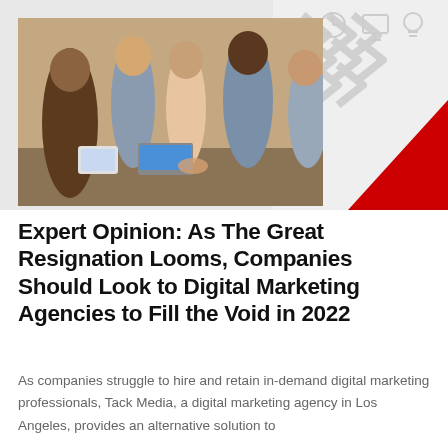[Figure (photo): A group of diverse business professionals gathered around a table, collaborating and looking at a document or device. Background contains light gray decorative chevron arrows and a red triangular accent in the bottom-right corner.]
Expert Opinion: As The Great Resignation Looms, Companies Should Look to Digital Marketing Agencies to Fill the Void in 2022
As companies struggle to hire and retain in-demand digital marketing professionals, Tack Media, a digital marketing agency in Los Angeles, provides an alternative solution to